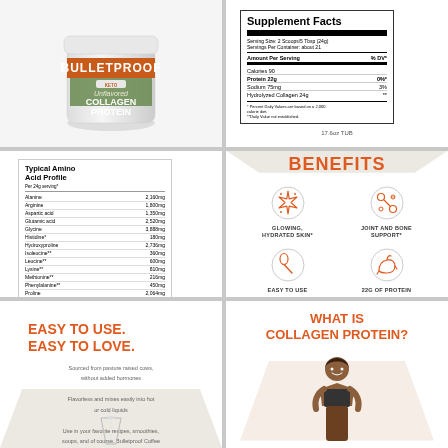[Figure (photo): Bulletproof Collagen Protein container, white tub with orange/brown label and green leaf design]
| Supplement Facts |  |
| --- | --- |
| Serving Size: 2 Scoops/5 Tbsp (24g) |  |
| Servings Per Container: about 21 |  |
| Amount Per Serving | % DV* |
| Calories 90 |  |
| Protein 22g | 0%* |
| Sodium 75mg | 3% |
| Hydrolyzed Collagen 24g | ** |
17.6oz TUB
| Typical Amino Acid Profile |  |
| --- | --- |
| Per 24g serving* |  |
| Alanine | 2,160mg |
| Arginine | 1,800mg |
| Aspartic acid | 1,350mg |
| Glutamic acid | 2,520mg |
| Glycine | 3,888mg |
| Histidine* | 180mg |
| Hydroxyproline | 2,736mg |
| Isoleucine** | 360mg |
| Leucine** | 600mg |
| Lysine** | 810mg |
| Methionine** | 216mg |
| Phenylalanine** | 450mg |
| Proline | 2,064mg |
| Serine | 186mg |
| Threonine** | 480mg |
| Tryptophan** | 0mg |
| Tyrosine | 126mg |
| Valine** | 408mg |
17.4oz TUB
[Figure (infographic): Benefits section with icons: Glowing Hydrated Skin, Joint and Bone Support, Easy to Use, 22g of Protein]
EASY TO USE. EASY TO LOVE.
Sourced from pasture raised cows, without added hormones. Flavorless and mixes easily into hot or cold liquids. Use in your favorite recipes, smoothies, soups, and of course, Bulletproof Coffee
WHAT IS COLLAGEN PROTEIN?
[Figure (photo): Woman smiling with arms at sides against light background]